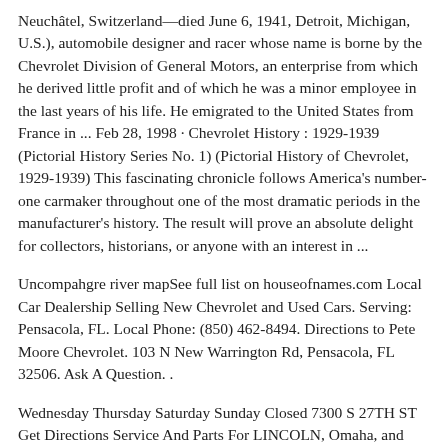Neuchâtel, Switzerland—died June 6, 1941, Detroit, Michigan, U.S.), automobile designer and racer whose name is borne by the Chevrolet Division of General Motors, an enterprise from which he derived little profit and of which he was a minor employee in the last years of his life. He emigrated to the United States from France in ... Feb 28, 1998 · Chevrolet History : 1929-1939 (Pictorial History Series No. 1) (Pictorial History of Chevrolet, 1929-1939) This fascinating chronicle follows America's number-one carmaker throughout one of the most dramatic periods in the manufacturer's history. The result will prove an absolute delight for collectors, historians, or anyone with an interest in ...
Uncompahgre river mapSee full list on houseofnames.com Local Car Dealership Selling New Chevrolet and Used Cars. Serving: Pensacola, FL. Local Phone: (850) 462-8494. Directions to Pete Moore Chevrolet. 103 N New Warrington Rd, Pensacola, FL 32506. Ask A Question. .
Wednesday Thursday Saturday Sunday Closed 7300 S 27TH ST Get Directions Service And Parts For LINCOLN, Omaha, and Fremont, NE Chevrolet Customers As your premier Omaha and Fremont, NE Chevrolet vehicle source, we pride ourselves on taking care of our customers. We treat the requirements of each individual customer with paramount concern.BA3. CH. CHEVROLET.Chevrolet History : 1929-1939 (Pictorial History